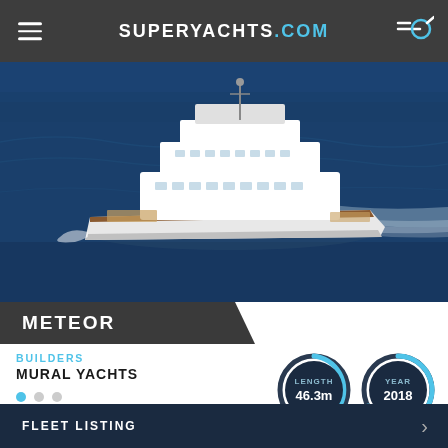SUPERYACHTS.COM
[Figure (photo): Aerial view of a large white superyacht sailing through dark blue ocean water, leaving a white wake trail]
METEOR
BUILDERS
MURAL YACHTS
[Figure (infographic): Two circular badge indicators: LENGTH 46.3m and YEAR 2018, styled with dark navy background and light blue arc borders]
FLEET LISTING